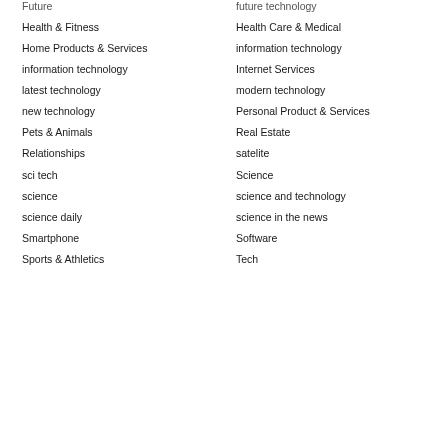Future
future technology
Health & Fitness
Health Care & Medical
Home Products & Services
information technology
information technology
Internet Services
latest technology
modern technology
new technology
Personal Product & Services
Pets & Animals
Real Estate
Relationships
satelite
sci tech
Science
science
science and technology
science daily
science in the news
Smartphone
Software
Sports & Athletics
Tech